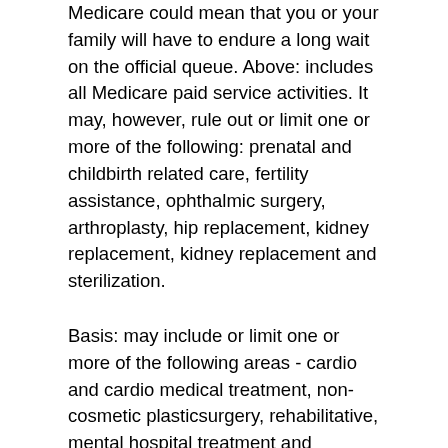Medicare could mean that you or your family will have to endure a long wait on the official queue. Above: includes all Medicare paid service activities. It may, however, rule out or limit one or more of the following: prenatal and childbirth related care, fertility assistance, ophthalmic surgery, arthroplasty, hip replacement, kidney replacement, kidney replacement and sterilization.
Basis: may include or limit one or more of the following areas - cardio and cardio medical treatment, non-cosmetic plasticsurgery, rehabilitative, mental hospital treatment and Palliative Medicine. Most guidelines, for example, will not cover you for medical practices or operations that are not necessary to maintain your good health, e.g. optional beauty operations. You can find details of what is and what is not insured in your policy brochure or by contacting the insurance company directly.
What are the reasons for taking out medical insurance for your family? There is a point to properly and jointly record all your healthcare needs and preferences under one umbrella! Family-type medical insurance provides coverage for you, your spouse and your family. If, for example, you want to have more kids,